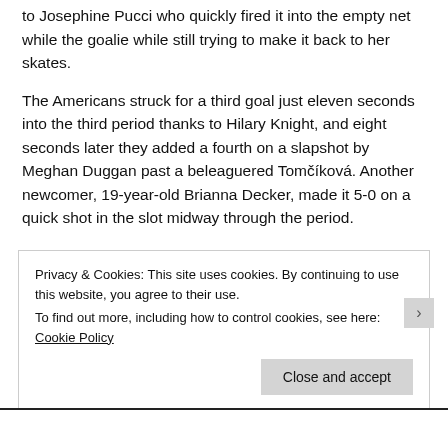to Josephine Pucci who quickly fired it into the empty net while the goalie while still trying to make it back to her skates.
The Americans struck for a third goal just eleven seconds into the third period thanks to Hilary Knight, and eight seconds later they added a fourth on a slapshot by Meghan Duggan past a beleaguered Tomčíková. Another newcomer, 19-year-old Brianna Decker, made it 5-0 on a quick shot in the slot midway through the period.
The U.S. plays again tomorrow against Russia while the Slovaks play Sweden earlier in the day Monday. Both
Privacy & Cookies: This site uses cookies. By continuing to use this website, you agree to their use.
To find out more, including how to control cookies, see here: Cookie Policy